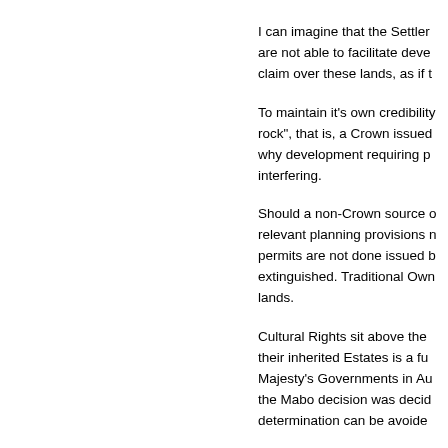I can imagine that the Settler are not able to facilitate deve claim over these lands, as if t
To maintain it's own credibility rock", that is, a Crown issued why development requiring p interfering.
Should a non-Crown source o relevant planning provisions n permits are not done issued b extinguished. Traditional Own lands.
Cultural Rights sit above the their inherited Estates is a fu Majesty's Governments in Au the Mabo decision was decid determination can be avoide